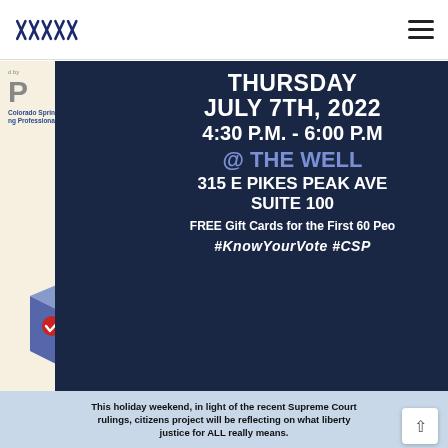Navigation bar with logo and hamburger menu
[Figure (infographic): Event flyer for voter registration/civic engagement event. Dark navy background with white bold text: THURSDAY JULY 7TH, 2022 / 4:30 P.M. - 6:00 P.M. / @ THE WELL (in purple/blue) / 315 E PIKES PEAK AVE SUITE 100 / FREE Gift Cards for the First 60 People / #KnowYourVote #CSP. Left side shows Colorado Springs Young Professionals logo and an illustrated ballot box.]
This holiday weekend, in light of the recent Supreme Court rulings, citizens project will be reflecting on what liberty justice for ALL really means.